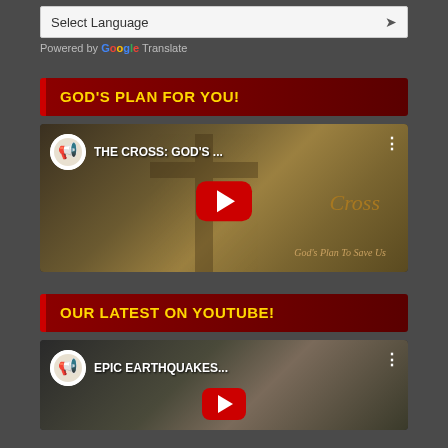[Figure (screenshot): Select Language dropdown with chevron]
Powered by Google Translate
GOD'S PLAN FOR YOU!
[Figure (screenshot): YouTube video thumbnail: THE CROSS: GOD'S ... with play button, channel icon, three dots menu. Cross image with text 'God's Plan To Save Us']
OUR LATEST ON YOUTUBE!
[Figure (screenshot): YouTube video thumbnail: EPIC EARTHQUAKES... with play button and channel icon]